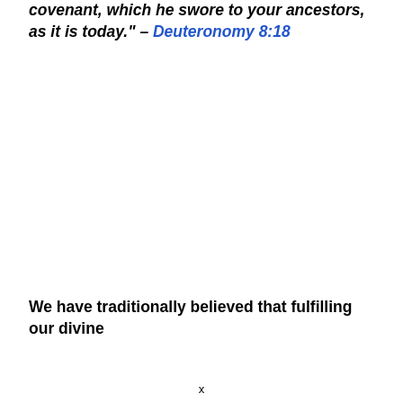covenant, which he swore to your ancestors, as it is today." – Deuteronomy 8:18
We have traditionally believed that fulfilling our divine
x